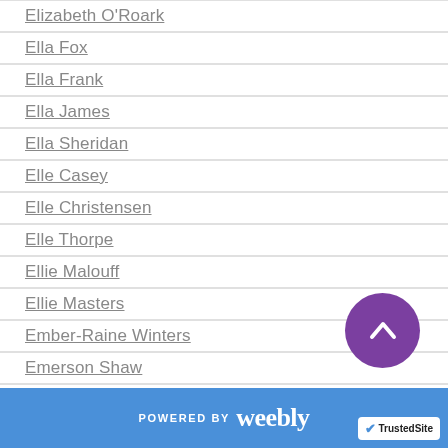Elizabeth O'Roark
Ella Fox
Ella Frank
Ella James
Ella Sheridan
Elle Casey
Elle Christensen
Elle Thorpe
Ellie Malouff
Ellie Masters
Ember-Raine Winters
Emerson Shaw
Emily Goodwin
Emily Minton
Emma Hart
Emma Lee
Emmanuella De Maupassant
POWERED BY weebly | TrustedSite